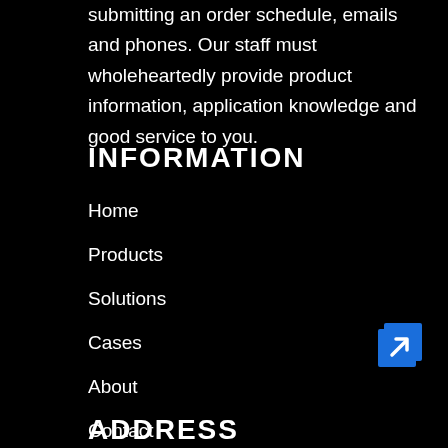submitting an order schedule, emails and phones. Our staff must wholeheartedly provide product information, application knowledge and good service to you.
INFORMATION
Home
Products
Solutions
Cases
About
Contact
[Figure (other): Blue square icon with arrow pointing top-right, suggesting a link or redirect button]
ADDRESS